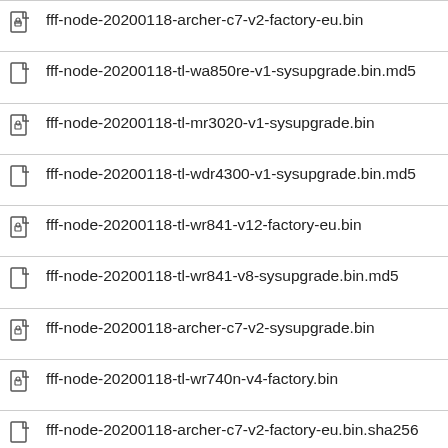fff-node-20200118-archer-c7-v2-factory-eu.bin
fff-node-20200118-tl-wa850re-v1-sysupgrade.bin.md5
fff-node-20200118-tl-mr3020-v1-sysupgrade.bin
fff-node-20200118-tl-wdr4300-v1-sysupgrade.bin.md5
fff-node-20200118-tl-wr841-v12-factory-eu.bin
fff-node-20200118-tl-wr841-v8-sysupgrade.bin.md5
fff-node-20200118-archer-c7-v2-sysupgrade.bin
fff-node-20200118-tl-wr740n-v4-factory.bin
fff-node-20200118-archer-c7-v2-factory-eu.bin.sha256
fff-node-20200118-tl-wa860re-v1-sysupgrade.bin.sha256